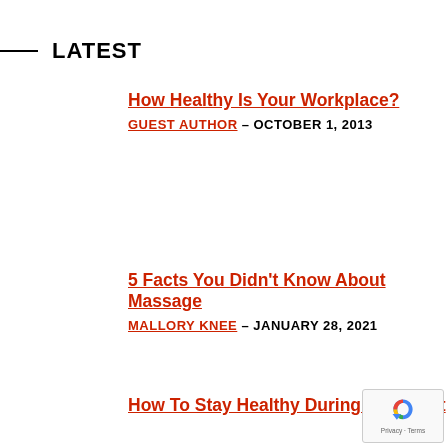LATEST
How Healthy Is Your Workplace?
GUEST AUTHOR - OCTOBER 1, 2013
5 Facts You Didn't Know About Massage
MALLORY KNEE - JANUARY 28, 2021
How To Stay Healthy During a Difficult